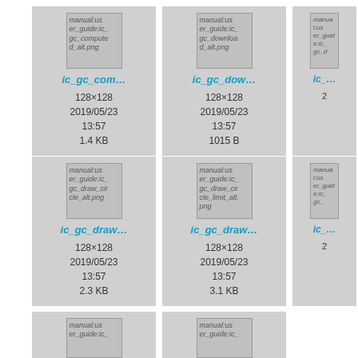[Figure (screenshot): File browser grid showing image file cards. Top row: ic_gc_computed_alt.png (128x128, 2019/05/23 13:57, 1.4 KB), ic_gc_download_alt.png (128x128, 2019/05/23 13:57, 1015 B), partial third card. Middle row: ic_gc_draw_circle_alt.png (128x128, 2019/05/23 13:57, 2.3 KB), ic_gc_draw_circle_limit_alt.png (128x128, 2019/05/23 13:57, 3.1 KB), partial third card. Bottom row: partial cards visible.]